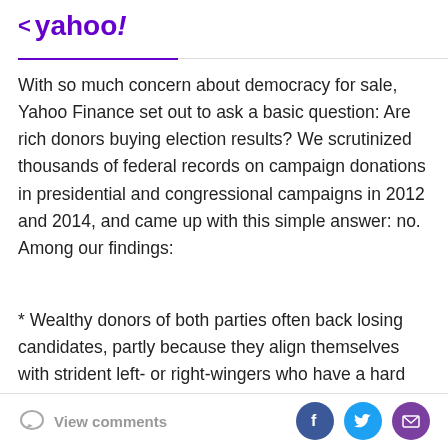< yahoo!
With so much concern about democracy for sale, Yahoo Finance set out to ask a basic question: Are rich donors buying election results? We scrutinized thousands of federal records on campaign donations in presidential and congressional campaigns in 2012 and 2014, and came up with this simple answer: no. Among our findings:
* Wealthy donors of both parties often back losing candidates, partly because they align themselves with strident left- or right-wingers who have a hard time winning over mainstream voters.
* In many races, there's a huge amount of money on both
View comments